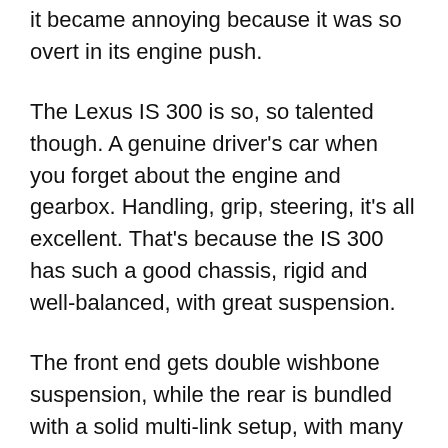it became annoying because it was so overt in its engine push.
The Lexus IS 300 is so, so talented though. A genuine driver's car when you forget about the engine and gearbox. Handling, grip, steering, it's all excellent. That's because the IS 300 has such a good chassis, rigid and well-balanced, with great suspension.
The front end gets double wishbone suspension, while the rear is bundled with a solid multi-link setup, with many of the suspension components also constructed from aluminium to keep weight down.
Spring and damper rates have been re-calibrated, while front and rear anti-roll bars have been revised to help keep body roll under control. Grip is excellent, and cornering, exceptionally calm, despite its 1,680kg weight.